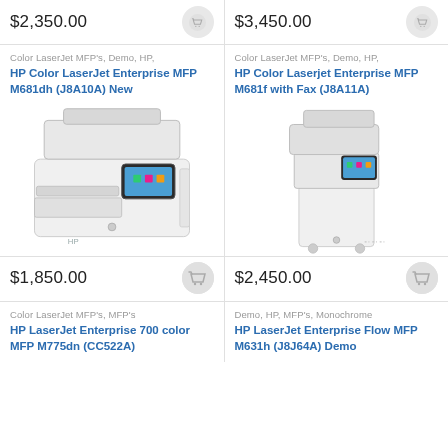$2,350.00
$3,450.00
Color LaserJet MFP's, Demo, HP,
HP Color LaserJet Enterprise MFP M681dh (J8A10A) New
[Figure (photo): HP Color LaserJet Enterprise MFP M681dh printer photo]
Color LaserJet MFP's, Demo, HP,
HP Color Laserjet Enterprise MFP M681f with Fax (J8A11A)
[Figure (photo): HP Color Laserjet Enterprise MFP M681f printer photo]
$1,850.00
$2,450.00
Color LaserJet MFP's, MFP's
HP LaserJet Enterprise 700 color MFP M775dn (CC522A)
Demo, HP, MFP's, Monochrome
HP LaserJet Enterprise Flow MFP M631h (J8J64A) Demo